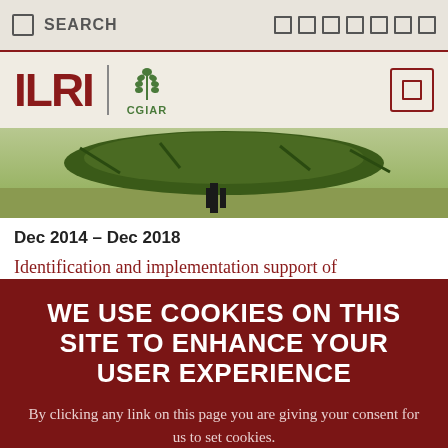SEARCH
[Figure (logo): ILRI CGIAR logo with wheat symbol]
[Figure (photo): Person carrying large bundle of green hay/grass on their back, outdoor agricultural scene]
Dec 2014 – Dec 2018
Identification and implementation support of
WE USE COOKIES ON THIS SITE TO ENHANCE YOUR USER EXPERIENCE
By clicking any link on this page you are giving your consent for us to set cookies.
OK, I AGREE | NO, THANKS | NO, GIVE ME MORE INFO